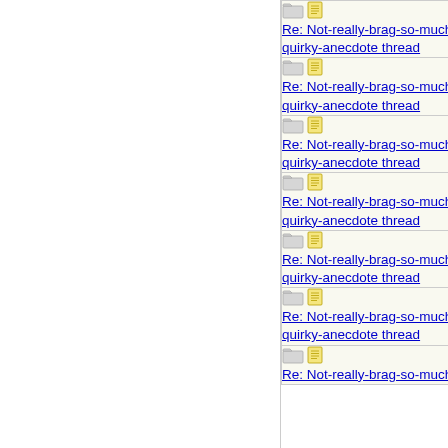| Subject | Author |
| --- | --- |
| Re: Not-really-brag-so-much-as-quirky-anecdote thread | Mana |
| Re: Not-really-brag-so-much-as-quirky-anecdote thread | doubtfulg |
| Re: Not-really-brag-so-much-as-quirky-anecdote thread | aquinas |
| Re: Not-really-brag-so-much-as-quirky-anecdote thread | aquinas |
| Re: Not-really-brag-so-much-as-quirky-anecdote thread | doubtfulg |
| Re: Not-really-brag-so-much-as-quirky-anecdote thread | aquinas |
| Re: Not-really-brag-so-much-as-quirky-anecdote thread |  |